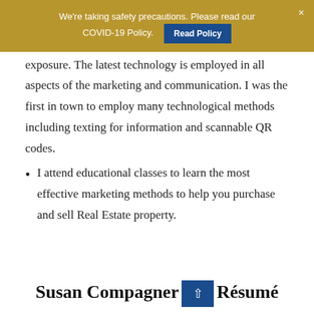We're taking safety precautions. Please read our COVID-19 Policy. [Read Policy] ×
exposure. The latest technology is employed in all aspects of the marketing and communication. I was the first in town to employ many technological methods including texting for information and scannable QR codes.
I attend educational classes to learn the most effective marketing methods to help you purchase and sell Real Estate property.
Susan Compagner Résumé